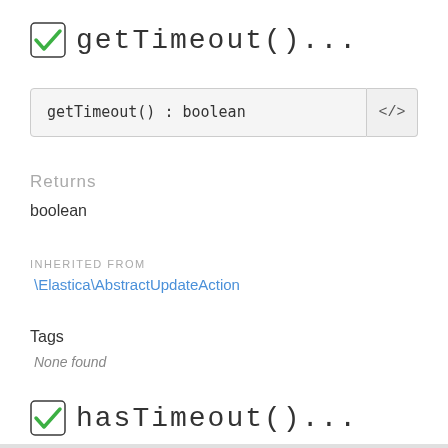getTimeout()...
getTimeout() : boolean
Returns
boolean
INHERITED FROM
\Elastica\AbstractUpdateAction
Tags
None found
hasTimeout()...